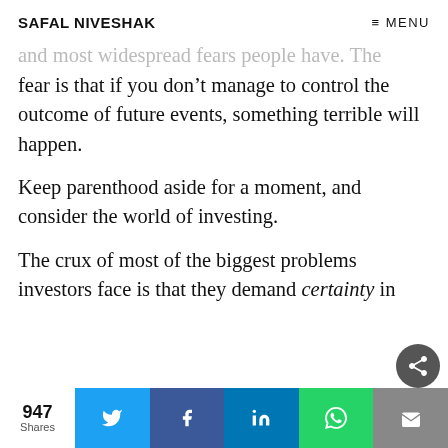SAFAL NIVESHAK   ≡ MENU
and most widespread fears people have. The fear is that if you don't manage to control the outcome of future events, something terrible will happen.
Keep parenthood aside for a moment, and consider the world of investing.
The crux of most of the biggest problems investors face is that they demand certainty in
947 Shares  [Twitter] [Facebook] [LinkedIn] [WhatsApp] [Email]